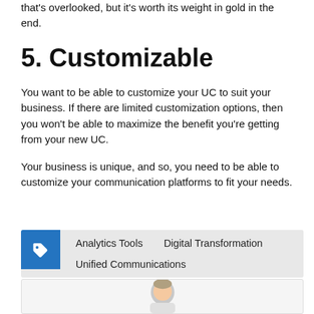that's overlooked, but it's worth its weight in gold in the end.
5. Customizable
You want to be able to customize your UC to suit your business. If there are limited customization options, then you won't be able to maximize the benefit you're getting from your new UC.
Your business is unique, and so, you need to be able to customize your communication platforms to fit your needs.
[Figure (infographic): Tag icon with labels: Analytics Tools, Digital Transformation, Unified Communications]
[Figure (illustration): Cartoon avatar of a person, partially visible at the bottom of the page]